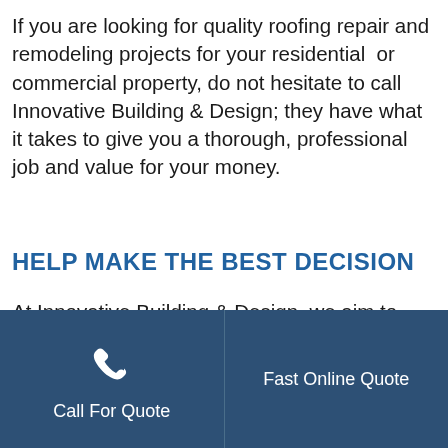If you are looking for quality roofing repair and remodeling projects for your residential  or commercial property, do not hesitate to call Innovative Building & Design; they have what it takes to give you a thorough, professional job and value for your money.
HELP MAKE THE BEST DECISION
At Innovative Building & Design, we aim to help our customers make the best decision for their properties. We provide the necessary information to empower our
[Figure (infographic): Dark blue footer bar divided into two sections: left side shows a phone handset icon above the text 'Call For Quote', right side shows 'Fast Online Quote']